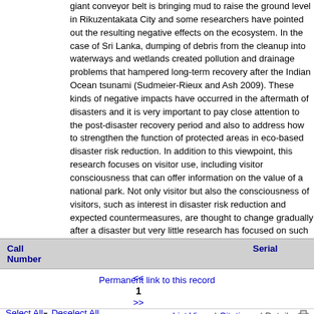giant conveyor belt is bringing mud to raise the ground level in Rikuzentakata City and some researchers have pointed out the resulting negative effects on the ecosystem. In the case of Sri Lanka, dumping of debris from the cleanup into waterways and wetlands created pollution and drainage problems that hampered long-term recovery after the Indian Ocean tsunami (Sudmeier-Rieux and Ash 2009). These kinds of negative impacts have occurred in the aftermath of disasters and it is very important to pay close attention to the post-disaster recovery period and also to address how to strengthen the function of protected areas in eco-based disaster risk reduction. In addition to this viewpoint, this research focuses on visitor use, including visitor consciousness that can offer information on the value of a national park. Not only visitor but also the consciousness of visitors, such as interest in disaster risk reduction and expected countermeasures, are thought to change gradually after a disaster but very little research has focused on such types of changes in psychological states.
| Call Number |  | Serial |  |
| --- | --- | --- | --- |
Permanent link to this record
<< 1 >>
Select All  Deselect All    List View | Citations | Details